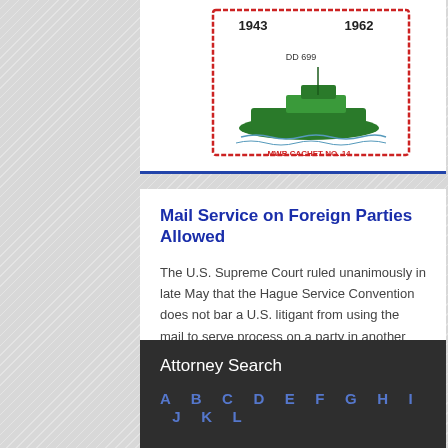[Figure (illustration): Postage stamp image with years 1943 and 1962, showing a ship (DD 699), with red border and text 'MWB CACHET NO. 14' below in red]
Mail Service on Foreign Parties Allowed
The U.S. Supreme Court ruled unanimously in late May that the Hague Service Convention does not bar a U.S. litigant from using the mail to serve process on a party in another country that, like the U.S., has ratified the Convention, unless that foreign country specifically has objecte
Read More
Attorney Search
A B C D E F G H I J K L